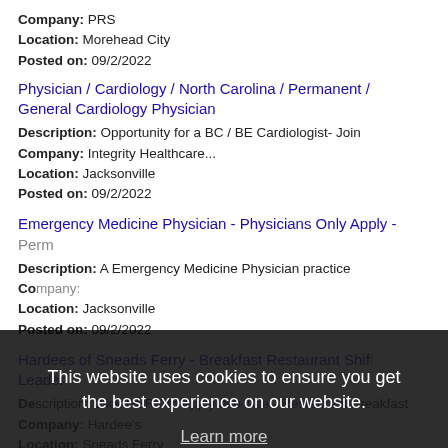Company: PRS
Location: Morehead City
Posted on: 09/2/2022
Physician / Cardiology / North Carolina / Permanent / General Cardiology Physician
Description: Opportunity for a BC / BE Cardiologist- Join
Company: Integrity Healthcare...
Location: Jacksonville
Posted on: 09/2/2022
Emergency Medicine Physician - Physicians Only Apply - Perm
Description: A Emergency Medicine Physician practice
Company:
Location: Jacksonville
Posted on: 09/2/2022
Hardees of Sneads Ferry - Breakfast Restaurant Shift Leader
Description: Click HERE to Apply Job Title - Restaurant Breakfast
Company: Hardee's
Location: Sneads Ferry
Posted on: 09/2/2022